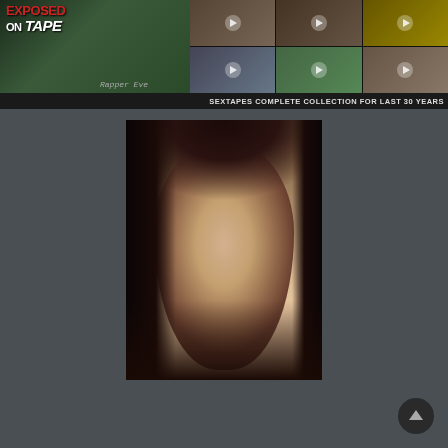[Figure (screenshot): Website banner showing adult content advertisement with text 'EXPOSED ON TAPE' and 'SEXTAPES COMPLETE COLLECTION FOR LAST 30 YEARS' with thumbnail grid of video previews]
[Figure (photo): Portrait photo of a young woman with dark hair, wearing red earrings, light complexion, smiling slightly, photographed against a dark background]